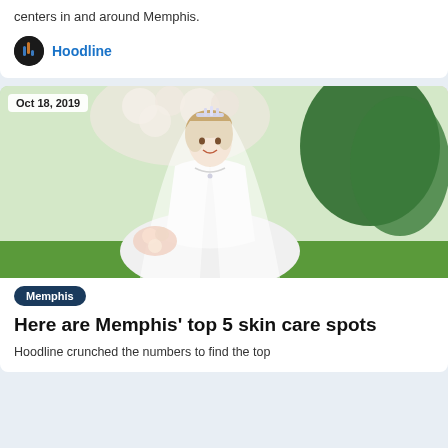centers in and around Memphis.
Hoodline
[Figure (photo): Wedding photo of a bride in a white dress and veil wearing a tiara, smiling, with blurred floral background. Date badge reads Oct 18, 2019.]
Oct 18, 2019
Memphis
Here are Memphis' top 5 skin care spots
Hoodline crunched the numbers to find the top